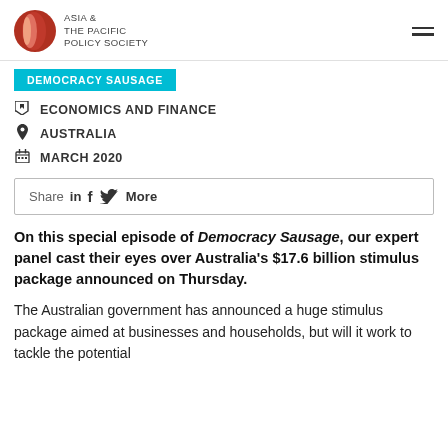ASIA & THE PACIFIC POLICY SOCIETY
DEMOCRACY SAUSAGE
ECONOMICS AND FINANCE
AUSTRALIA
MARCH 2020
Share in f More
On this special episode of Democracy Sausage, our expert panel cast their eyes over Australia's $17.6 billion stimulus package announced on Thursday.
The Australian government has announced a huge stimulus package aimed at businesses and households, but will it work to tackle the potential impact of COVID on ??? In fact, in that we...